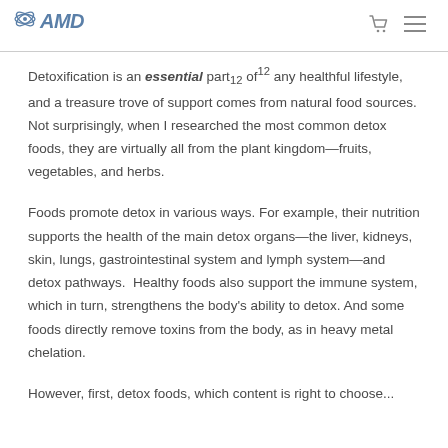AMND [logo with cart and menu icons]
Detoxification is an essential part₁₂ of¹² any healthful lifestyle, and a treasure trove of support comes from natural food sources. Not surprisingly, when I researched the most common detox foods, they are virtually all from the plant kingdom—fruits, vegetables, and herbs.
Foods promote detox in various ways. For example, their nutrition supports the health of the main detox organs—the liver, kidneys, skin, lungs, gastrointestinal system and lymph system—and detox pathways.  Healthy foods also support the immune system, which in turn, strengthens the body’s ability to detox. And some foods directly remove toxins from the body, as in heavy metal chelation.
However, first, detox foods, which content is right to choose...